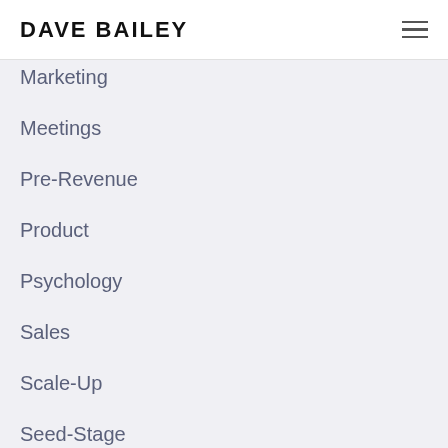DAVE BAILEY
Marketing
Meetings
Pre-Revenue
Product
Psychology
Sales
Scale-Up
Seed-Stage
Strategy